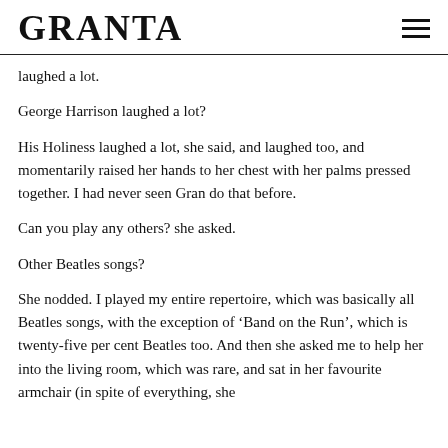GRANTA
laughed a lot.
George Harrison laughed a lot?
His Holiness laughed a lot, she said, and laughed too, and momentarily raised her hands to her chest with her palms pressed together. I had never seen Gran do that before.
Can you play any others? she asked.
Other Beatles songs?
She nodded. I played my entire repertoire, which was basically all Beatles songs, with the exception of ‘Band on the Run’, which is twenty-five per cent Beatles too. And then she asked me to help her into the living room, which was rare, and sat in her favourite armchair (in spite of everything, she